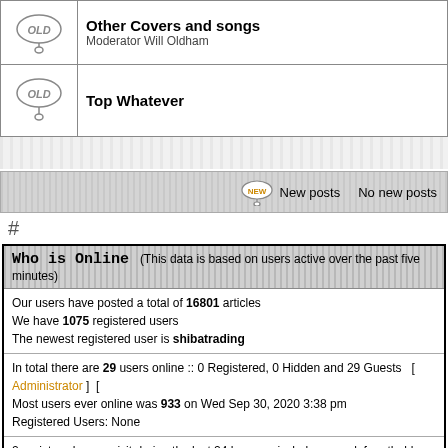| icon | forum |
| --- | --- |
| OLD | Other Covers and songs
Moderator Will Oldham |
| OLD | Top Whatever |
New posts   No new posts
#
Who is Online  (This data is based on users active over the past five minutes)
Our users have posted a total of 16801 articles
We have 1075 registered users
The newest registered user is shibatrading
In total there are 29 users online :: 0 Registered, 0 Hidden and 29 Guests  [ Administrator ] [
Most users ever online was 933 on Wed Sep 30, 2020 3:38 pm
Registered Users: None
2 registered users visit during the last 24 hours: misshelenc, paulofromthebloc
Log in
Username:   Password:   Log me o
Powered by phpBB © 2001, 2002 phpBB G